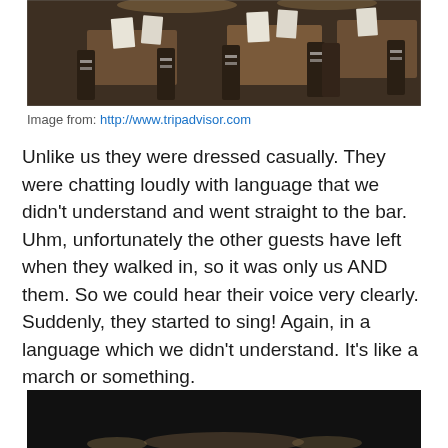[Figure (photo): Interior of a restaurant showing wooden tables set with white folded napkins and chairs, dimly lit ambiance.]
Image from: http://www.tripadvisor.com
Unlike us they were dressed casually. They were chatting loudly with language that we didn't understand and went straight to the bar. Uhm, unfortunately the other guests have left when they walked in, so it was only us AND them. So we could hear their voice very clearly. Suddenly, they started to sing! Again, in a language which we didn't understand. It's like a march or something.
[Figure (photo): Dark interior photo of a restaurant, mostly dark with some light visible at the bottom.]